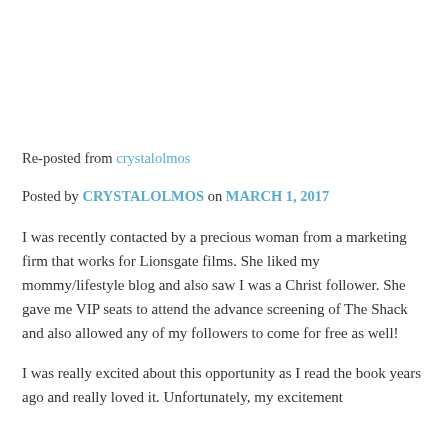Re-posted from crystalolmos
Posted by CRYSTALOLMOS on MARCH 1, 2017
I was recently contacted by a precious woman from a marketing firm that works for Lionsgate films. She liked my mommy/lifestyle blog and also saw I was a Christ follower. She gave me VIP seats to attend the advance screening of The Shack and also allowed any of my followers to come for free as well!
I was really excited about this opportunity as I read the book years ago and really loved it. Unfortunately, my excitement